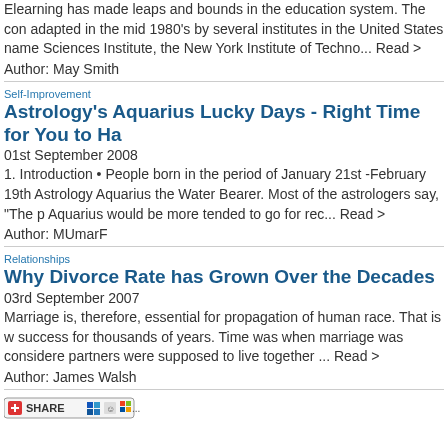Elearning has made leaps and bounds in the education system. The con adapted in the mid 1980's by several institutes in the United States name Sciences Institute, the New York Institute of Techno... Read >
Author: May Smith
Self-Improvement
Astrology's Aquarius Lucky Days - Right Time for You to Ha
01st September 2008
1. Introduction • People born in the period of January 21st -February 19th Astrology Aquarius the Water Bearer. Most of the astrologers say, "The p Aquarius would be more tended to go for rec... Read >
Author: MUmarF
Relationships
Why Divorce Rate has Grown Over the Decades
03rd September 2007
Marriage is, therefore, essential for propagation of human race. That is w success for thousands of years. Time was when marriage was considere partners were supposed to live together ... Read >
Author: James Walsh
[Figure (other): Share button with social media icons]